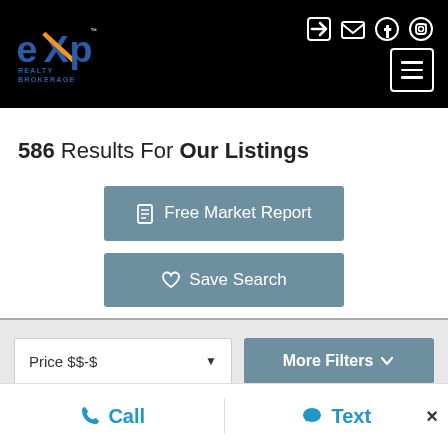[Figure (logo): eXp Realty Brokerage logo on black header background with navigation icons (login, email, Facebook, Instagram) and hamburger menu button]
586 Results For Our Listings
Free Market Report
Save Search
Price $$-$
More Filters
Call
Text